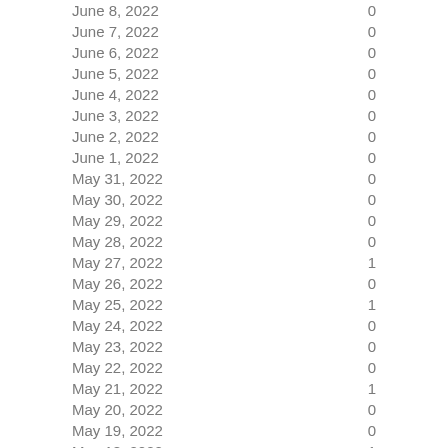| Date | Value |
| --- | --- |
| June 8, 2022 | 0 |
| June 7, 2022 | 0 |
| June 6, 2022 | 0 |
| June 5, 2022 | 0 |
| June 4, 2022 | 0 |
| June 3, 2022 | 0 |
| June 2, 2022 | 0 |
| June 1, 2022 | 0 |
| May 31, 2022 | 0 |
| May 30, 2022 | 0 |
| May 29, 2022 | 0 |
| May 28, 2022 | 0 |
| May 27, 2022 | 1 |
| May 26, 2022 | 0 |
| May 25, 2022 | 1 |
| May 24, 2022 | 0 |
| May 23, 2022 | 0 |
| May 22, 2022 | 0 |
| May 21, 2022 | 1 |
| May 20, 2022 | 0 |
| May 19, 2022 | 0 |
| May 18, 2022 | 1 |
| May 17, 2022 | 0 |